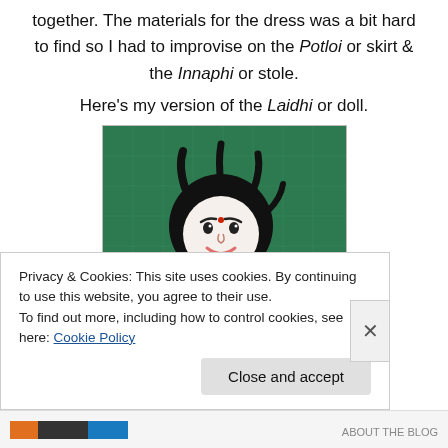together. The materials for the dress was a bit hard to find so I had to improvise on the Potloi or skirt & the Innaphi or stole.
Here's my version of the Laidhi or doll.
[Figure (photo): Photo of a handmade doll (Laidhi) lying on a green cutting mat. The doll has a round white fabric face with embroidered features including eyebrows, eyes, a red bindi dot, and a pink smile. It has black hair and a beige fabric body. A wooden ring is visible to the right side.]
Privacy & Cookies: This site uses cookies. By continuing to use this website, you agree to their use. To find out more, including how to control cookies, see here: Cookie Policy